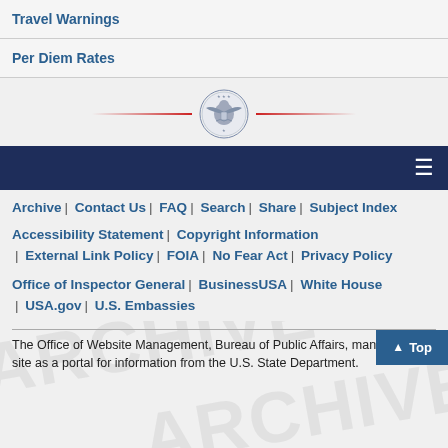Travel Warnings
Per Diem Rates
[Figure (logo): US State Department eagle seal with red decorative lines on either side]
Navigation bar with hamburger menu icon
Archive | Contact Us | FAQ | Search | Share | Subject Index
Accessibility Statement | Copyright Information | External Link Policy | FOIA | No Fear Act | Privacy Policy
Office of Inspector General | BusinessUSA | White House | USA.gov | U.S. Embassies
The Office of Website Management, Bureau of Public Affairs, manages this site as a portal for information from the U.S. State Department.